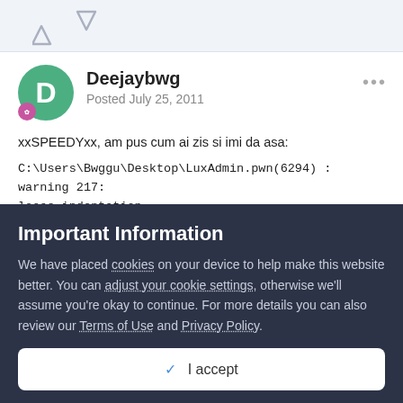[Figure (other): Forum post header area with upvote/downvote arrows on light gray background]
Deejaybwg
Posted July 25, 2011
xxSPEEDYxx, am pus cum ai zis si imi da asa:
C:\Users\Bwggu\Desktop\LuxAdmin.pwn(6294) : warning 217: loose indentation
C:\Users\Bwggu\Desktop\LuxAdmin.pwn(6294) : error 001: expected token: ",", but found "("
Important Information
We have placed cookies on your device to help make this website better. You can adjust your cookie settings, otherwise we'll assume you're okay to continue. For more details you can also review our Terms of Use and Privacy Policy.
✓  I accept